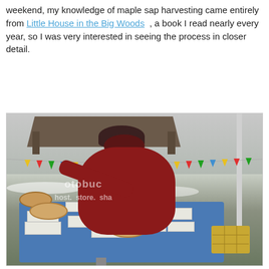weekend, my knowledge of maple sap harvesting came entirely from Little House in the Big Woods , a book I read nearly every year, so I was very interested in seeing the process in closer detail.
[Figure (photo): Outdoor winter scene at what appears to be a maple sap harvesting demonstration event. A person in a red puffer jacket and dark hat with ear flaps leans over a blue-covered display table with papers, signs, and cross-sectioned logs on it. Colorful triangular bunting flags are strung in the background. Snow is on the ground. A hay bale is visible on the right. A pavilion structure is visible in the background. A Photobucket watermark overlay reads 'host. store. share'.]